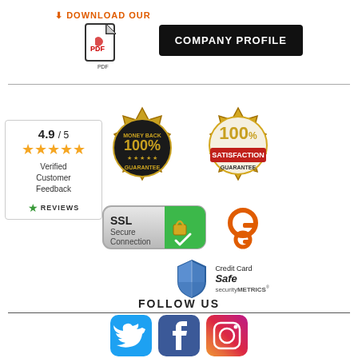[Figure (infographic): Download Our Company Profile button with PDF icon and orange arrow]
[Figure (infographic): Trust badges: 100% Money Back Guarantee gold seal, 100% Satisfaction Guarantee gold seal, SSL Secure Connection badge, Glassdoor logo, SecurityMetrics Credit Card Safe shield, customer review box with 4.9/5 stars]
FOLLOW US
[Figure (infographic): Social media icons: Twitter, Facebook, Instagram]